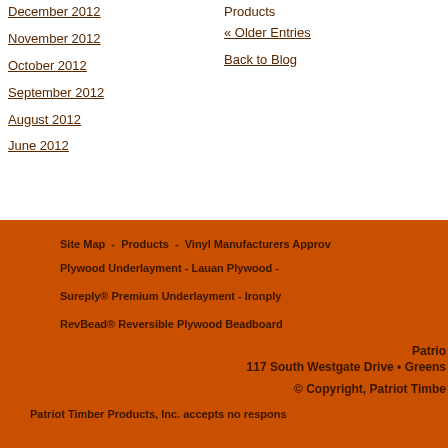December 2012
November 2012
October 2012
September 2012
August 2012
June 2012
Products
« Older Entries
Back to Blog
Site Map - Products - Vinyl Manufacturers Approval  Plywood Underlayment - Lauan Plywood -  Sureply® Premium Underlayment - Ironply  RevBead® Reversible Plywood Beadboard  Patriot  117 South Westgate Drive • Greens  © Copyright, Patriot Timbe  Patriot Timber Products, Inc. accepts no respons